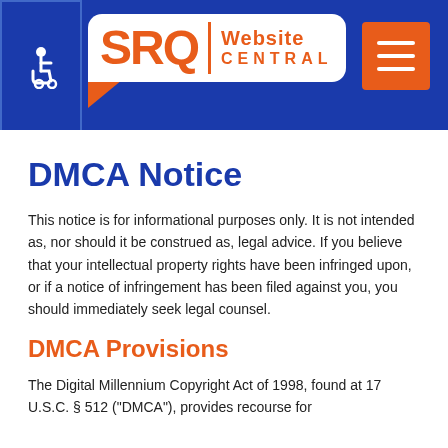SRQ Website Central — navigation header with accessibility icon and hamburger menu
DMCA Notice
This notice is for informational purposes only. It is not intended as, nor should it be construed as, legal advice. If you believe that your intellectual property rights have been infringed upon, or if a notice of infringement has been filed against you, you should immediately seek legal counsel.
DMCA Provisions
The Digital Millennium Copyright Act of 1998, found at 17 U.S.C. § 512 ("DMCA"), provides recourse for